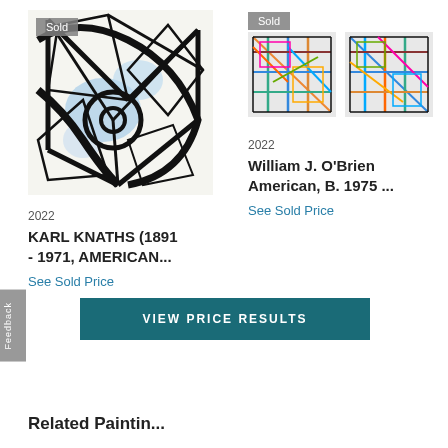[Figure (photo): Abstract painting by Karl Knaths with black geometric shapes and blue areas on white background, with 'Sold' badge overlay]
[Figure (photo): Two colorful abstract paintings by William J. O'Brien with multicolored geometric lines, with 'Sold' badge overlay]
2022
KARL KNATHS (1891 - 1971, AMERICAN...
See Sold Price
2022
William J. O'Brien American, B. 1975 ...
See Sold Price
VIEW PRICE RESULTS
Related Paintin...